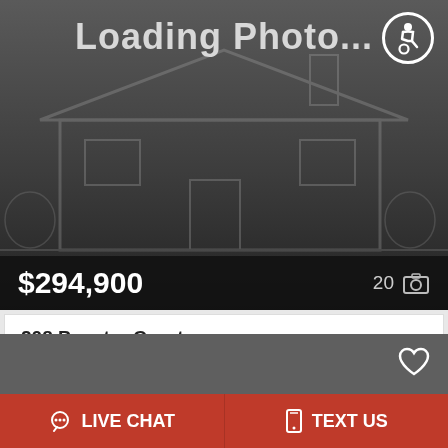[Figure (screenshot): Loading Photo placeholder image with outline of a house on dark background]
$294,900
20 (camera icon)
208 Penster Court
RICHLANDS, NC 28574
Maidstone Park
| Beds | Baths | Sq.Ft. |
| --- | --- | --- |
| 4 | 2F 11/2 | 1,958 |
MLS #: 100342951
LIVE CHAT
TEXT US